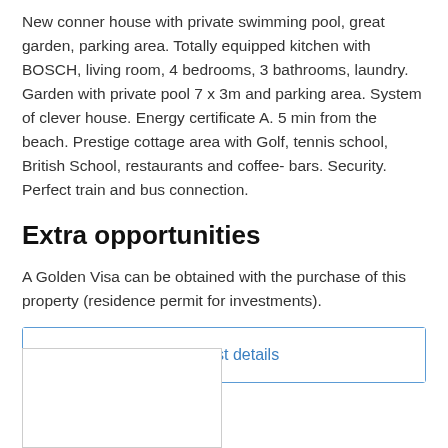New conner house with private swimming pool, great garden, parking area. Totally equipped kitchen with BOSCH, living room, 4 bedrooms, 3 bathrooms, laundry. Garden with private pool 7 x 3m and parking area. System of clever house. Energy certificate A. 5 min from the beach. Prestige cottage area with Golf, tennis school, British School, restaurants and coffee- bars. Security. Perfect train and bus connection.
Extra opportunities
A Golden Visa can be obtained with the purchase of this property (residence permit for investments).
[Figure (other): Request details button — a rectangular outlined button with blue border and blue text reading 'Request details']
[Figure (photo): Partial image box at the bottom left, mostly white/empty, with a light gray border]